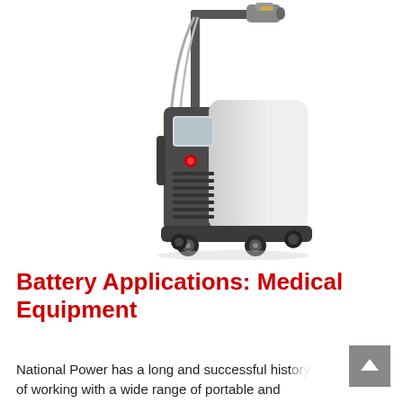[Figure (photo): A medical/aesthetic laser machine on wheels with a robotic arm handpiece, white and dark gray body, touchscreen display, red indicator light, ventilation grilles, and cables hanging from the arm. The machine sits on four caster wheels.]
Battery Applications: Medical Equipment
National Power has a long and successful history of working with a wide range of portable and